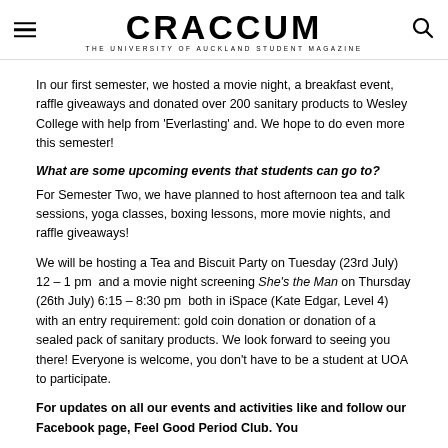CRACCUM — THE UNIVERSITY OF AUCKLAND STUDENT MAGAZINE
In our first semester, we hosted a movie night, a breakfast event, raffle giveaways and donated over 200 sanitary products to Wesley College with help from 'Everlasting' and. We hope to do even more this semester!
What are some upcoming events that students can go to?
For Semester Two, we have planned to host afternoon tea and talk sessions, yoga classes, boxing lessons, more movie nights, and raffle giveaways!
We will be hosting a Tea and Biscuit Party on Tuesday (23rd July) 12 – 1 pm  and a movie night screening She's the Man on Thursday (26th July) 6:15 – 8:30 pm  both in iSpace (Kate Edgar, Level 4) with an entry requirement: gold coin donation or donation of a sealed pack of sanitary products. We look forward to seeing you there! Everyone is welcome, you don't have to be a student at UOA to participate.
For updates on all our events and activities like and follow our Facebook page, Feel Good Period Club. You